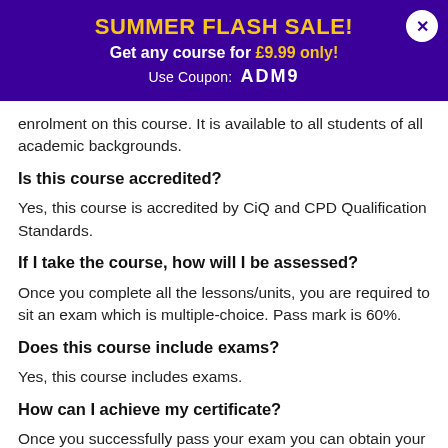[Figure (infographic): Purple promotional banner with 'SUMMER FLASH SALE!' in gold, 'Get any course for £9.99 only!' in white/gold, 'Use Coupon: ADM9' in white, and a close button (X) in top-right corner.]
enrolment on this course. It is available to all students of all academic backgrounds.
Is this course accredited?
Yes, this course is accredited by CiQ and CPD Qualification Standards.
If I take the course, how will I be assessed?
Once you complete all the lessons/units, you are required to sit an exam which is multiple-choice. Pass mark is 60%.
Does this course include exams?
Yes, this course includes exams.
How can I achieve my certificate?
Once you successfully pass your exam you can obtain your certificate of achievement either in PDF or hard copy format, or both, for an additional fee. Certificates are also available